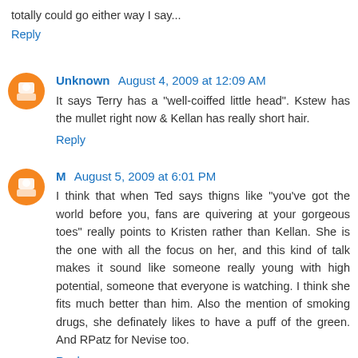totally could go either way I say...
Reply
Unknown  August 4, 2009 at 12:09 AM
It says Terry has a "well-coiffed little head". Kstew has the mullet right now & Kellan has really short hair.
Reply
M  August 5, 2009 at 6:01 PM
I think that when Ted says thigns like "you've got the world before you, fans are quivering at your gorgeous toes" really points to Kristen rather than Kellan. She is the one with all the focus on her, and this kind of talk makes it sound like someone really young with high potential, someone that everyone is watching. I think she fits much better than him. Also the mention of smoking drugs, she definately likes to have a puff of the green. And RPatz for Nevise too.
Reply